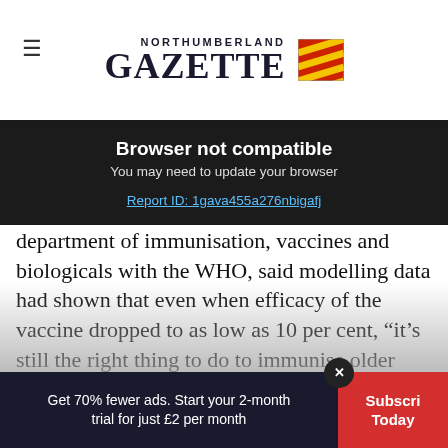NORTHUMBERLAND GAZETTE
[Figure (screenshot): Browser not compatible overlay with dark background. Title: 'Browser not compatible'. Subtitle: 'You may need to update your browser'. Link: 'Report ID: 1gava455a276nbigafj']
department of immunisation, vaccines and biologicals with the WHO, said modelling data had shown that even when efficacy of the vaccine dropped to as low as 10 per cent, “it’s still the right thing to do to immunise older adults with a low efficacy vaccine because of the high risk of severe disease and mortality in
Get 70% fewer ads. Start your 2-month trial for just £2 per month | Subscribe Today